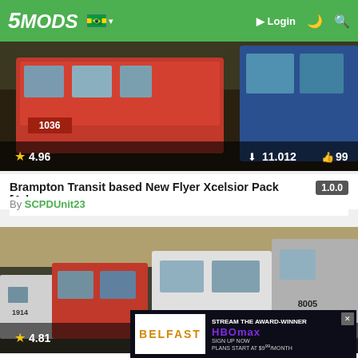5MODS | Login
[Figure (screenshot): Screenshot of a red city bus with number 1036, representing Brampton Transit Xcelsior mod]
★ 4.96  ⬇ 11.012  👍 99
Brampton Transit based New Flyer Xcelsior Pack [Ad...  1.0.0
By SCPDUnit23
[Figure (screenshot): Screenshot of multiple transit buses including TTC red buses and white/gray buses, number 8005 visible]
★ 4.81  ⬇ 3.4...  👍 46
[Figure (other): Advertisement: Belfast movie / HBO Max Stream the Award-Winner, Sign Up Now, Plans start at $9/month]
Greater...  1.0.1